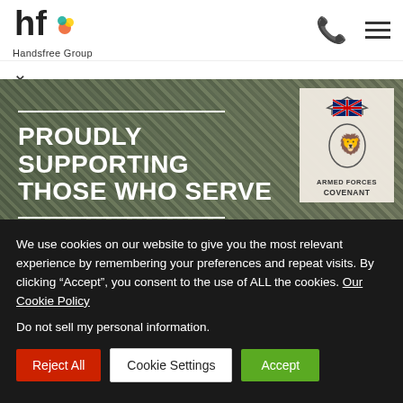[Figure (logo): Handsfree Group logo — 'hf' letters with coloured dot accent, text 'Handsfree Group' below]
[Figure (photo): Military camouflage uniform close-up with text overlay 'PROUDLY SUPPORTING THOSE WHO SERVE' and Armed Forces Covenant badge]
Handsfree Group proud to announce award for Armed Forces Covenant Silver Award
We use cookies on our website to give you the most relevant experience by remembering your preferences and repeat visits. By clicking “Accept”, you consent to the use of ALL the cookies. Our Cookie Policy
Do not sell my personal information.
Reject All
Cookie Settings
Accept